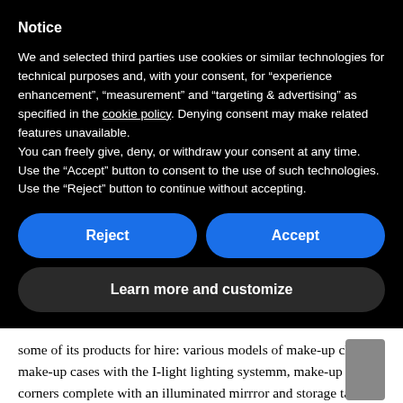Notice
We and selected third parties use cookies or similar technologies for technical purposes and, with your consent, for “experience enhancement”, “measurement” and “targeting & advertising” as specified in the cookie policy. Denying consent may make related features unavailable.
You can freely give, deny, or withdraw your consent at any time. Use the “Accept” button to consent to the use of such technologies. Use the “Reject” button to continue without accepting.
[Figure (other): Two blue rounded-rectangle buttons side by side labeled 'Reject' and 'Accept', followed by a dark rounded-rectangle button labeled 'Learn more and customize']
some of its products for hire: various models of make-up chairs, make-up cases with the I-light lighting system, make-up corners complete with an illuminated mirror and storage table.